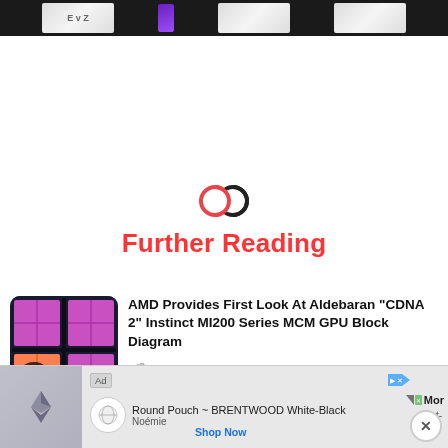[Figure (photo): Top portion of a dark product image showing white product boxes and a purple box against a black background]
[Figure (illustration): Two interlocking rings icon in coral/red and dark colors, representing a chain link or 'Further Reading' symbol]
Further Reading
[Figure (photo): Thumbnail image of AMD Aldebaran CDNA 2 GPU chip die shot with pink/purple compute die tiles visible]
AMD Provides First Look At Aldebaran “CDNA 2” Instinct MI200 Series MCM GPU Block Diagram
Hassan Mujtaba
[Figure (screenshot): Advertisement bar showing Round Pouch BRENTWOOD White-Black product by Noémie with Shop Now link and close button]